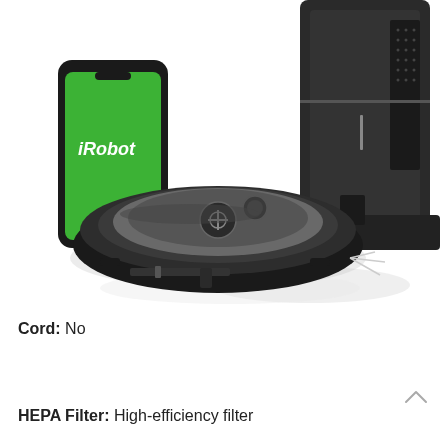[Figure (photo): iRobot Roomba robot vacuum with automatic dirt disposal base station and iRobot smartphone app shown in background]
Cord: No
HEPA Filter: High-efficiency filter